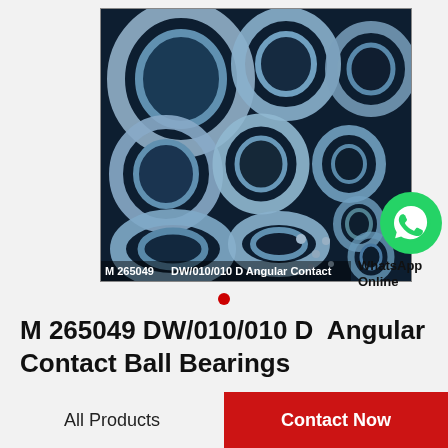[Figure (photo): Photo of multiple angular contact ball bearings of various sizes arranged together, with text overlay reading 'M 265049 DW/010/010 D Angular Contact']
[Figure (logo): WhatsApp green circle icon with phone handset symbol]
WhatsApp Online
M 265049 DW/010/010 D  Angular Contact Ball Bearings
All Products
Contact Now